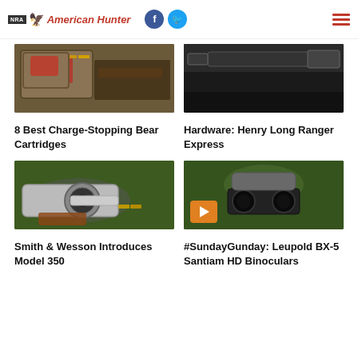NRA American Hunter
[Figure (photo): Tactical bag/case with bullets and rifle]
8 Best Charge-Stopping Bear Cartridges
[Figure (photo): Henry Long Ranger Express rifle on dark background]
Hardware: Henry Long Ranger Express
[Figure (photo): Smith & Wesson Model 350 revolver on ground with holster and ammunition]
Smith & Wesson Introduces Model 350
[Figure (photo): Man using Leupold BX-5 Santiam HD Binoculars, video play button overlay]
#SundayGunday: Leupold BX-5 Santiam HD Binoculars